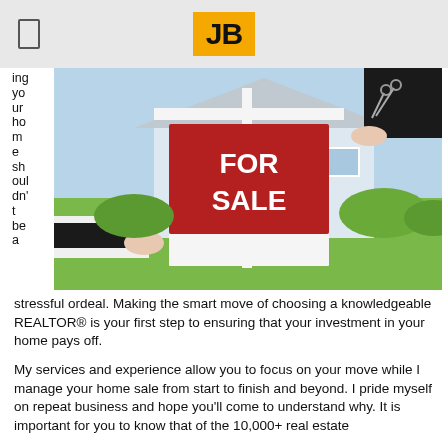JB
ing your home shouldn't be a
[Figure (photo): Photo of a real estate key handoff with a FOR SALE sign in front of a house]
stressful ordeal.  Making the smart move of choosing a knowledgeable REALTOR® is your first step to ensuring that your investment in your home pays off.

My services and experience allow you to focus on your move while I manage your home sale from start to finish and beyond.  I pride myself on repeat business and hope you'll come to understand why.  It is important for you to know that of the 10,000+ real estate